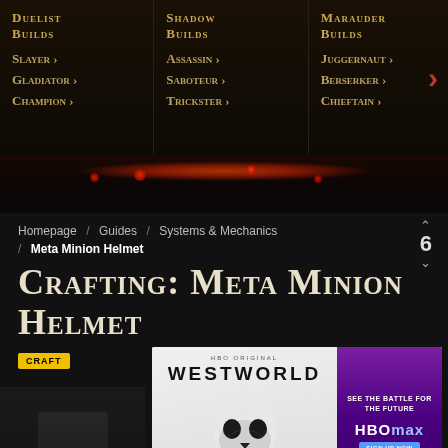[Figure (screenshot): Navigation bar with three columns: Duelist Builds (Slayer, Gladiator, Champion), Shadow Builds (Assassin, Saboteur, Trickster), Marauder Builds (Juggernaut, Berserker, Chieftain) with red arrow on right]
[Figure (photo): Dark lava/fire texture divider]
Homepage / Guides / Systems & Mechanics / Meta Minion Helmet
6
Crafting: Meta Minion Helmet
[Figure (advertisement): Westworld HBO Max advertisement showing skull robot hand imagery with HBO Original logo and 'SEE THE BATTLE FOR THE FUTURE HBOMAX SIGN UP NOW PLANS START AT $9/MONTH' text, with close button]